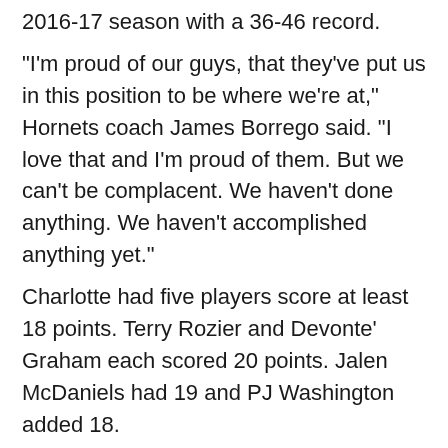2016-17 season with a 36-46 record.
"I'm proud of our guys, that they've put us in this position to be where we're at," Hornets coach James Borrego said. "I love that and I'm proud of them. But we can't be complacent. We haven't done anything. We haven't accomplished anything yet."
Charlotte had five players score at least 18 points. Terry Rozier and Devonte' Graham each scored 20 points. Jalen McDaniels had 19 and PJ Washington added 18.
Milwaukee lost its third straight as it rested its top players one night after closing a six-game trip with a 116-101 loss at Dallas. Jordan Nwora, a rookie second-round pick from Louisville, scored a career-high 24 points to lead the Bucks.